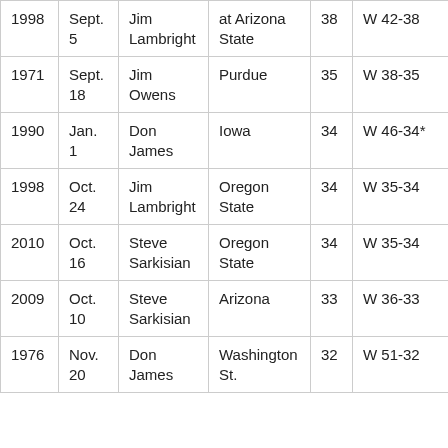| 1998 | Sept. 5 | Jim Lambright | at Arizona State | 38 | W 42-38 |
| 1971 | Sept. 18 | Jim Owens | Purdue | 35 | W 38-35 |
| 1990 | Jan. 1 | Don James | Iowa | 34 | W 46-34* |
| 1998 | Oct. 24 | Jim Lambright | Oregon State | 34 | W 35-34 |
| 2010 | Oct. 16 | Steve Sarkisian | Oregon State | 34 | W 35-34 |
| 2009 | Oct. 10 | Steve Sarkisian | Arizona | 33 | W 36-33 |
| 1976 | Nov. 20 | Don James | Washington St. | 32 | W 51-32 |